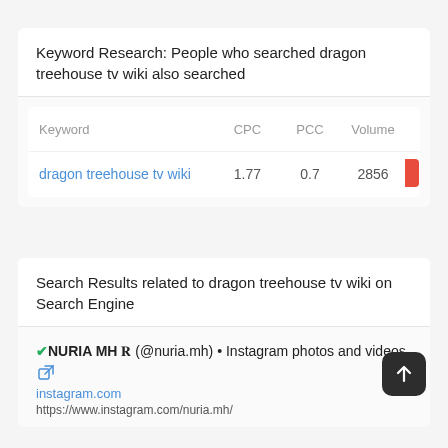Keyword Research: People who searched dragon treehouse tv wiki also searched
| Keyword | CPC | PCC | Volume | S |
| --- | --- | --- | --- | --- |
| dragon treehouse tv wiki | 1.77 | 0.7 | 2856 |  |
Search Results related to dragon treehouse tv wiki on Search Engine
✓NURIA MH 𝐑 (@nuria.mh) • Instagram photos and videos 🔗
instagram.com
https://www.instagram.com/nuria.mh/